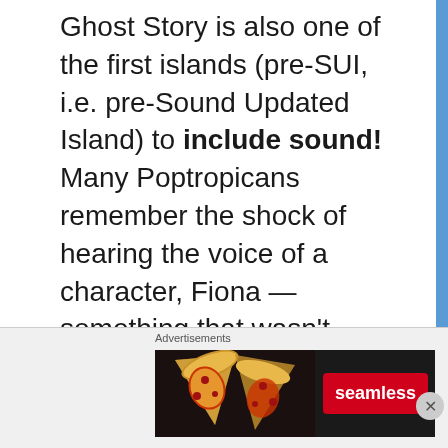Ghost Story is also one of the first islands (pre-SUI, i.e. pre-Sound Updated Island) to include sound! Many Poptropicans remember the shock of hearing the voice of a character, Fiona — something that wasn't done again until Survival Island and PoptropiCon. Along with that, there's also the short but very sweet violin song you get to play.
[Figure (other): Seamless food delivery advertisement banner showing pizza slices, Seamless logo in red, and ORDER NOW button]